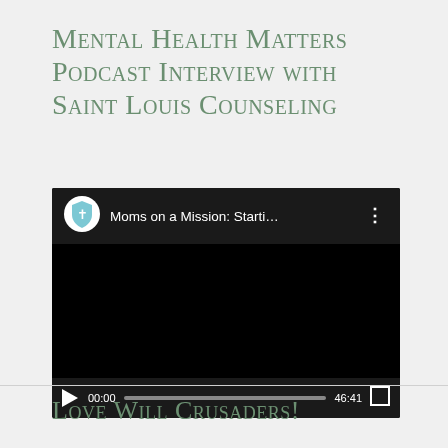Mental Health Matters Podcast Interview with Saint Louis Counseling
[Figure (screenshot): YouTube/video player screenshot showing 'Moms on a Mission: Starti...' podcast video with a cross/shield icon, black main video area, and controls showing 00:00 current time and 46:41 total duration.]
Love Will Crusaders!